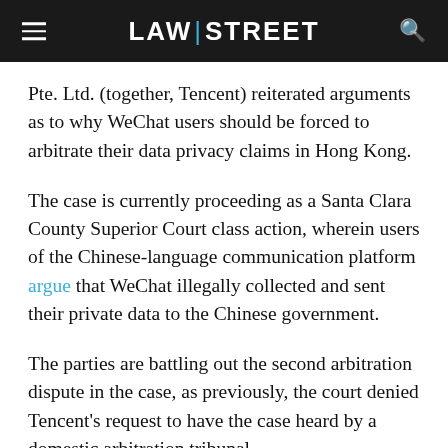LAW|STREET
Pte. Ltd. (together, Tencent) reiterated arguments as to why WeChat users should be forced to arbitrate their data privacy claims in Hong Kong.
The case is currently proceeding as a Santa Clara County Superior Court class action, wherein users of the Chinese-language communication platform argue that WeChat illegally collected and sent their private data to the Chinese government.
The parties are battling out the second arbitration dispute in the case, as previously, the court denied Tencent's request to have the case heard by a domestic arbitration tribunal.